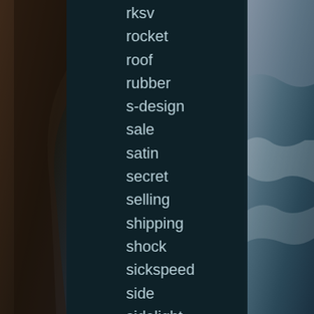[Figure (photo): Background photo of a rocky coastal cliff on the left and ocean waves on the right, with a dark teal center panel overlaid containing a list of terms.]
rksv
rocket
roof
rubber
s-design
sale
satin
secret
selling
shipping
shock
sickspeed
side
sidelight
silver
small
sound
sp-r
sport